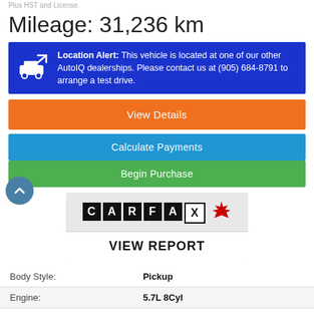Plus HST and License.
Mileage: 31,236 km
Location Alert: This vehicle is located at one of our other AutoIQ dealerships. Please contact us at (905) 684-8791 to arrange a test drive.
View Details
Calculate Payments
Begin Purchase
[Figure (logo): CARFAX Canada logo with maple leaf]
VIEW REPORT
| Body Style: | Pickup |
| Engine: | 5.7L 8Cyl |
| Exterior Colour: | Steel |
| VIN: | 1C6SRFLT8LN243786 |